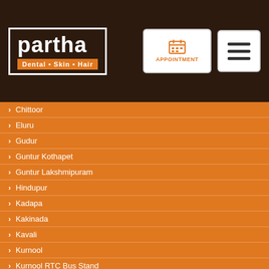[Figure (logo): Partha Dental Skin Hair logo in dark brown header with appointment button and menu button]
Chittoor
Eluru
Gudur
Guntur Kothapet
Guntur Lakshmipuram
Hindupur
Kadapa
Kakinada
Kavali
Kurnool
Kurnool RTC Bus Stand
Machilipatnam
Madanapalle
Mangalagiri
Nandyal
Narasaraopet
Nellore
Ongole